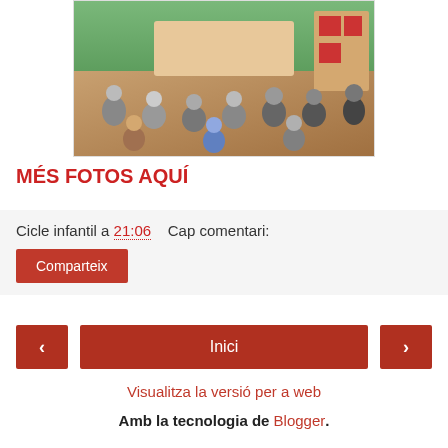[Figure (photo): Classroom photo showing young children sitting in a circle on the floor in a kindergarten/nursery school room with colorful furniture and toys]
MÉS FOTOS AQUÍ
Cicle infantil a 21:06    Cap comentari:
Comparteix
‹   Inici   ›
Visualitza la versió per a web
Amb la tecnologia de Blogger.